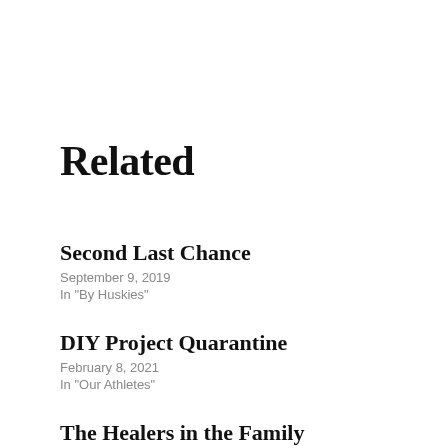Related
Second Last Chance
September 9, 2019
In "By Huskies"
DIY Project Quarantine
February 8, 2021
In "Our Athletes"
The Healers in the Family